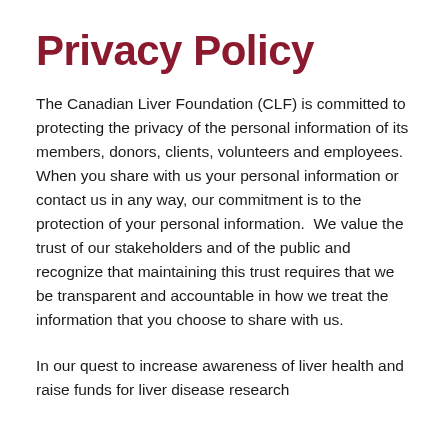Privacy Policy
The Canadian Liver Foundation (CLF) is committed to protecting the privacy of the personal information of its members, donors, clients, volunteers and employees.  When you share with us your personal information or contact us in any way, our commitment is to the protection of your personal information.  We value the trust of our stakeholders and of the public and recognize that maintaining this trust requires that we be transparent and accountable in how we treat the information that you choose to share with us.
In our quest to increase awareness of liver health and raise funds for liver disease research